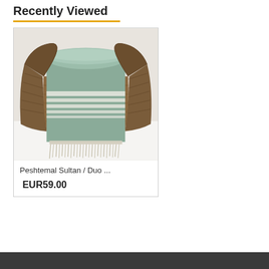Recently Viewed
[Figure (photo): A sage green Turkish peshtemal towel with white stripes and fringe, displayed folded in a woven seagrass basket on a white surface.]
Peshtemal Sultan / Duo ...
EUR59.00